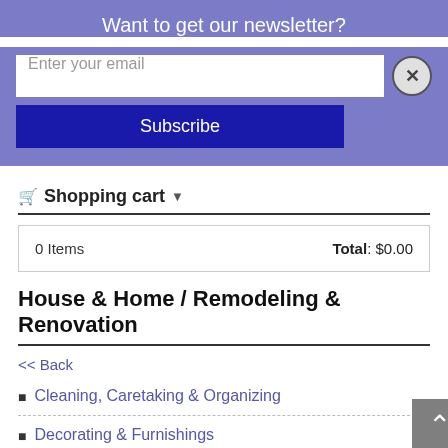Want to get our newsletter?
[Figure (screenshot): Email subscription form with text input 'Enter your email', close button (X), and blue Subscribe button]
Shopping cart ▾
| 0 Items | Total: $0.00 |
House & Home / Remodeling & Renovation
<< Back
Cleaning, Caretaking & Organizing
Decorating & Furnishings